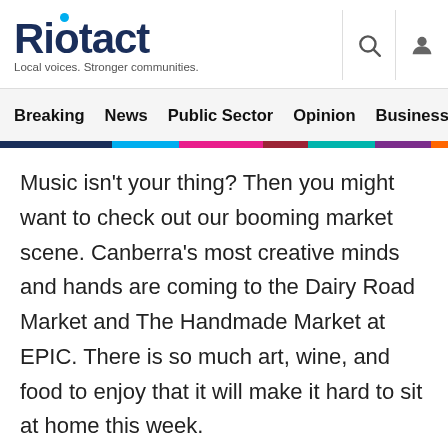Riotact — Local voices. Stronger communities.
Breaking  News  Public Sector  Opinion  Business  R
Music isn't your thing? Then you might want to check out our booming market scene. Canberra's most creative minds and hands are coming to the Dairy Road Market and The Handmade Market at EPIC. There is so much art, wine, and food to enjoy that it will make it hard to sit at home this week.